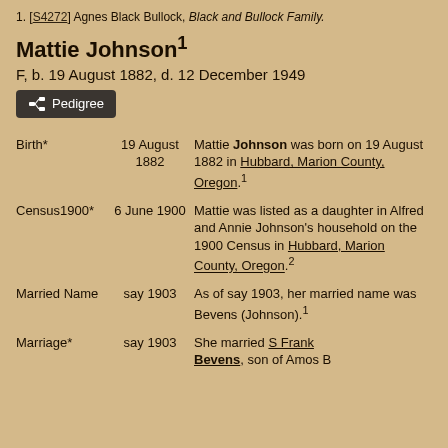1. [S4272] Agnes Black Bullock, Black and Bullock Family.
Mattie Johnson¹
F, b. 19 August 1882, d. 12 December 1949
| Event | Date | Description |
| --- | --- | --- |
| Birth* | 19 August 1882 | Mattie Johnson was born on 19 August 1882 in Hubbard, Marion County, Oregon.¹ |
| Census1900* | 6 June 1900 | Mattie was listed as a daughter in Alfred and Annie Johnson's household on the 1900 Census in Hubbard, Marion County, Oregon.² |
| Married Name | say 1903 | As of say 1903, her married name was Bevens (Johnson).¹ |
| Marriage* | say 1903 | She married S Frank Bevens, son of Amos B... |